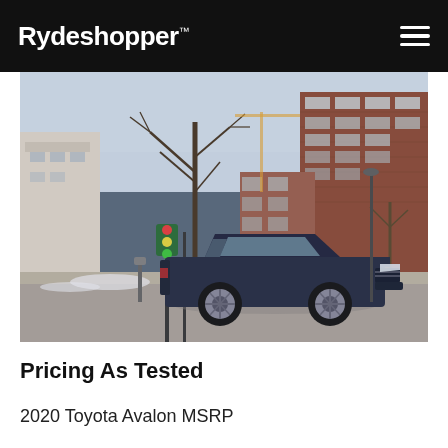Rydeshopper™
[Figure (photo): A dark navy blue 2020 Toyota Avalon sedan parked on an urban street in winter, with bare trees and brick apartment buildings in the background.]
Pricing As Tested
2020 Toyota Avalon MSRP